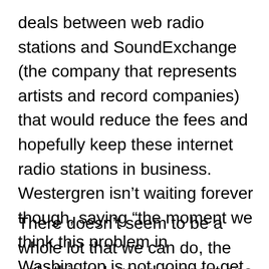deals between web radio stations and SoundExchange (the company that represents artists and record companies) that would reduce the fees and hopefully keep these internet radio stations in business. Westergren isn't waiting forever though, saying “the moment we think this problem in Washington is not going to get solved, we have to pull the plug because all we’re doing is wasting money.”
There doesn’t seem to be a whole lot that we can do, the only things I would suggest one do to save Pandora, is visit SaveNetRadio.org